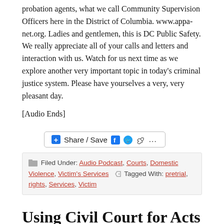probation agents, what we call Community Supervision Officers here in the District of Columbia. www.appa-net.org. Ladies and gentlemen, this is DC Public Safety. We really appreciate all of your calls and letters and interaction with us. Watch for us next time as we explore another very important topic in today’s criminal justice system. Please have yourselves a very, very pleasant day.
[Audio Ends]
[Figure (other): Share / Save button bar with Facebook, Twitter, and more icons]
Filed Under: Audio Podcast, Courts, Domestic Violence, Victim’s Services   Tagged With: pretrial, rights, Services, Victim
Using Civil Court for Acts of Domestic Violence